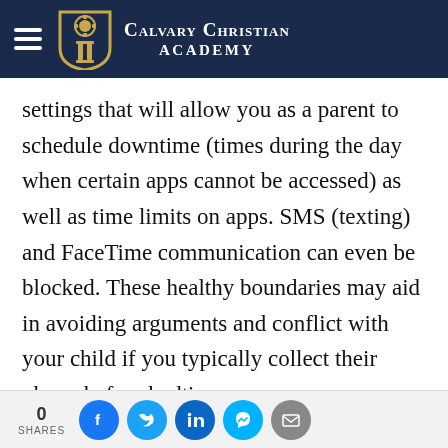Calvary Christian Academy
settings that will allow you as a parent to schedule downtime (times during the day when certain apps cannot be accessed) as well as time limits on apps. SMS (texting) and FaceTime communication can even be blocked. These healthy boundaries may aid in avoiding arguments and conflict with your child if you typically collect their phone before bedtime.
0 SHARES | Facebook | Twitter | LinkedIn | Messenger | Email